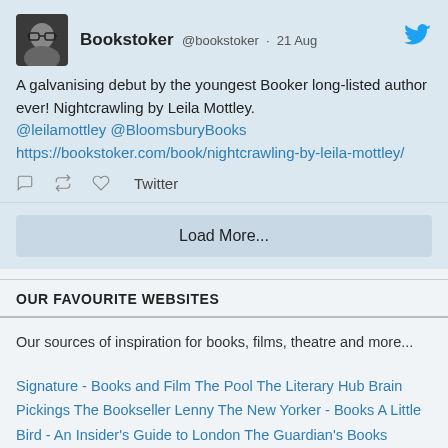[Figure (screenshot): Tweet from Bookstoker (@bookstoker) dated 21 Aug: 'A galvanising debut by the youngest Booker long-listed author ever! Nightcrawling by Leila Mottley. @leilamottley @BloomsburyBooks https://bookstoker.com/book/nightcrawling-by-leila-mottley/' with tweet action icons and Twitter label.]
Load More...
OUR FAVOURITE WEBSITES
Our sources of inspiration for books, films, theatre and more...
Signature - Books and Film The Pool The Literary Hub Brain Pickings The Bookseller Lenny The New Yorker - Books A Little Bird - An Insider's Guide to London The Guardian's Books Section